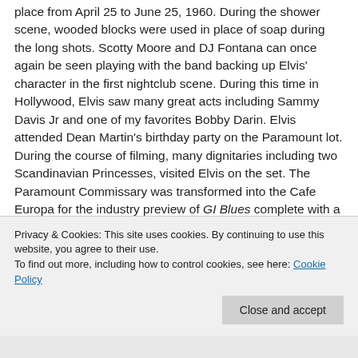place from April 25 to June 25, 1960. During the shower scene, wooded blocks were used in place of soap during the long shots. Scotty Moore and DJ Fontana can once again be seen playing with the band backing up Elvis' character in the first nightclub scene. During this time in Hollywood, Elvis saw many great acts including Sammy Davis Jr and one of my favorites Bobby Darin. Elvis attended Dean Martin's birthday party on the Paramount lot. During the course of filming, many dignitaries including two Scandinavian Princesses, visited Elvis on the set. The Paramount Commissary was transformed into the Cafe Europa for the industry preview of GI Blues complete with a German orchestra, beer and brown bread. Famed
Privacy & Cookies: This site uses cookies. By continuing to use this website, you agree to their use.
To find out more, including how to control cookies, see here: Cookie Policy